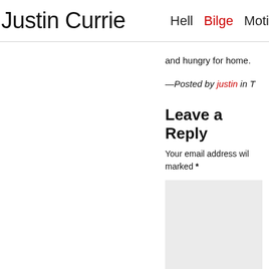Justin Currie   Hell   Bilge   Moti
and hungry for home.
—Posted by justin in T
Leave a Reply
Your email address wil marked *
Name *